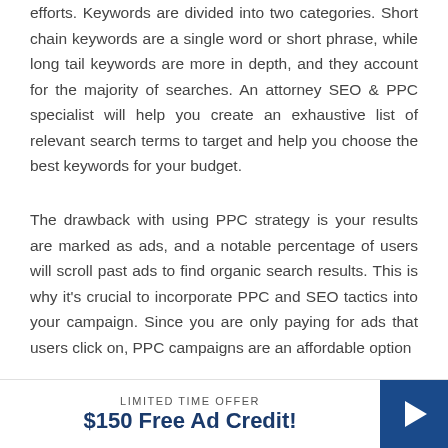efforts. Keywords are divided into two categories. Short chain keywords are a single word or short phrase, while long tail keywords are more in depth, and they account for the majority of searches. An attorney SEO & PPC specialist will help you create an exhaustive list of relevant search terms to target and help you choose the best keywords for your budget.
The drawback with using PPC strategy is your results are marked as ads, and a notable percentage of users will scroll past ads to find organic search results. This is why it's crucial to incorporate PPC and SEO tactics into your campaign. Since you are only paying for ads that users click on, PPC campaigns are an affordable option
LIMITED TIME OFFER
$150 Free Ad Credit!